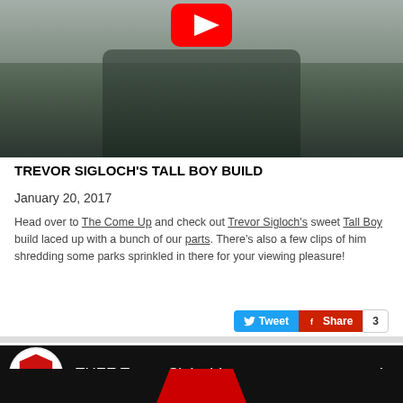[Figure (screenshot): YouTube video thumbnail showing a person on a BMX bike outdoors with trees in background, YouTube play button overlay at top]
TREVOR SIGLOCH'S TALL BOY BUILD
January 20, 2017
Head over to The Come Up and check out Trevor Sigloch's sweet Tall Boy build laced up with a bunch of our parts. There's also a few clips of him shredding some parks sprinkled in there for your viewing pleasure!
[Figure (screenshot): Twitter Tweet button (blue) and Facebook Share button (red) with count of 3]
[Figure (screenshot): YouTube channel card for THEE Trevor Sigloch! with SM logo circle on black background]